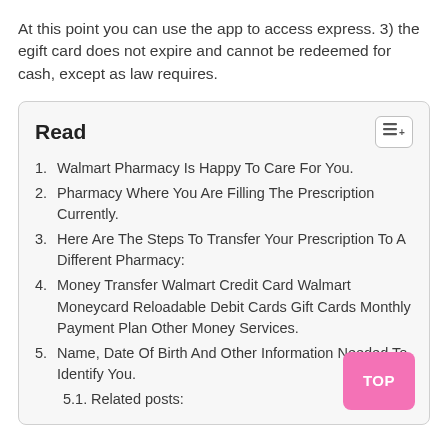At this point you can use the app to access express. 3) the egift card does not expire and cannot be redeemed for cash, except as law requires.
Read
1. Walmart Pharmacy Is Happy To Care For You.
2. Pharmacy Where You Are Filling The Prescription Currently.
3. Here Are The Steps To Transfer Your Prescription To A Different Pharmacy:
4. Money Transfer Walmart Credit Card Walmart Moneycard Reloadable Debit Cards Gift Cards Monthly Payment Plan Other Money Services.
5. Name, Date Of Birth And Other Information Needed To Identify You.
5.1. Related posts: